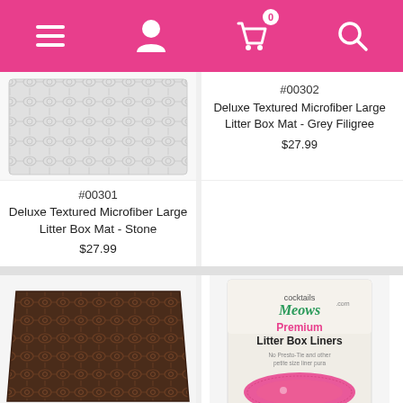[Figure (screenshot): Pink navigation bar with hamburger menu, user icon, shopping cart with badge showing 0, and search icon]
[Figure (photo): Grey filigree textured microfiber litter box mat product image]
#00302
Deluxe Textured Microfiber Large Litter Box Mat - Grey Filigree
$27.99
[Figure (photo): Stone colored textured microfiber litter box mat product image]
#00301
Deluxe Textured Microfiber Large Litter Box Mat - Stone
$27.99
[Figure (photo): Dark brown/chocolate textured microfiber litter box mat]
[Figure (photo): Cocktails and Meows Premium Litter Box Liners product packaging]